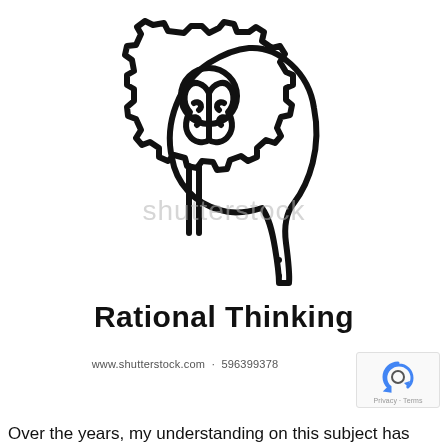[Figure (illustration): Line art illustration of a human head silhouette in profile facing right, with a brain visible inside the head, and a large gear/cog overlapping the top-left of the head. The gear has a circle at its center. The style is simple black outline on white background.]
Rational Thinking
www.shutterstock.com · 596399378
Over the years, my understanding on this subject has